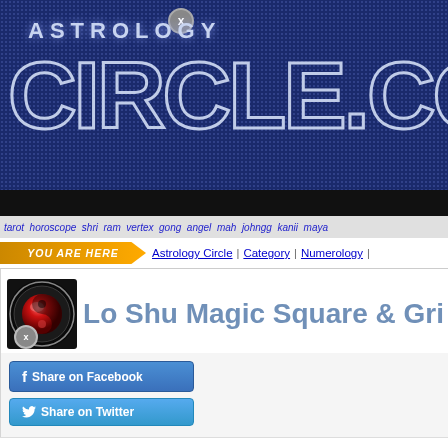AstrologyCircle.com
tarot horoscope shri ram vertex gong angel mah johngg kanii maya
YOU ARE HERE | Astrology Circle | Category | Numerology
[Figure (logo): Circular logo with red orb/sphere on dark background]
Lo Shu Magic Square & Gri
Share on Facebook
Share on Twitter
Lo Shu Magic Square / Grid is an incredible as well as exact Fengsh